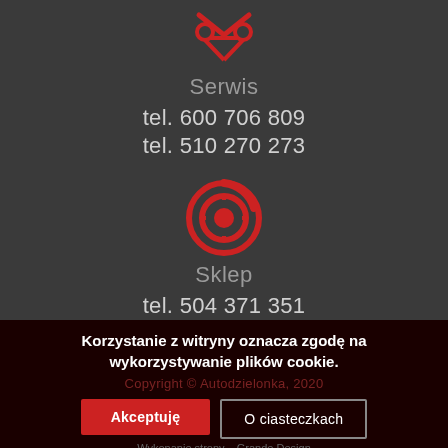[Figure (illustration): Red scissors/tools icon for Serwis section]
Serwis
tel. 600 706 809
tel. 510 270 273
[Figure (illustration): Red circular brake/wheel icon for Sklep section]
Sklep
tel. 504 371 351
Korzystanie z witryny oznacza zgodę na wykorzystywanie plików cookie.
Copyright © Autodzielonka, 2020
Akceptuję
O ciasteczkach
Wykonanie strony   Grande Design